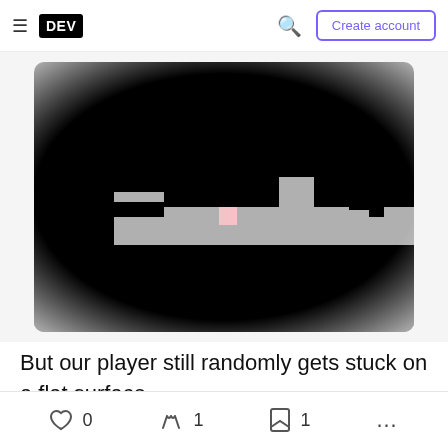DEV — Create account
[Figure (screenshot): Game screenshot showing a pixel-art platformer scene with a dark background. A gray stepped terrain/platform is visible in the middle, with a small pink square player character sitting on the flat surface. Black rectangular obstacles appear on the platform. The scene is viewed from the side.]
But our player still randomly gets stuck on a flat surface.
0 reactions  1 comments  1 bookmark  more options